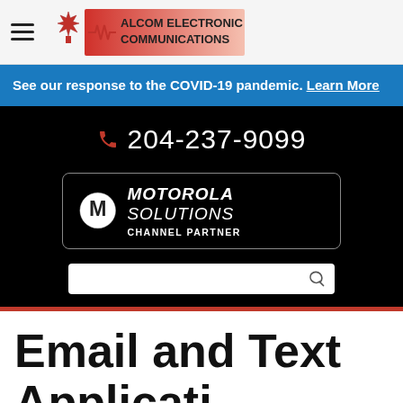Alcom Electronic Communications
See our response to the COVID-19 pandemic. Learn More
204-237-9099
[Figure (logo): Motorola Solutions Channel Partner badge logo]
Email and Text Applications